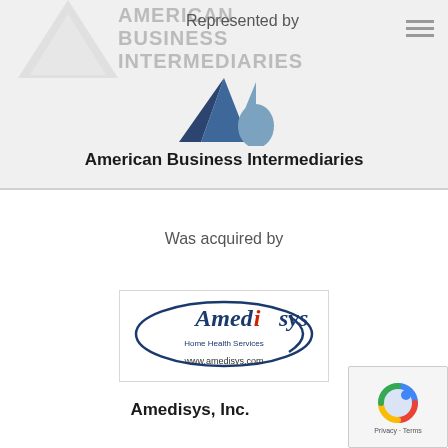Represented by
[Figure (logo): American Business Intermediaries logo — a triangular abstract mark in dark navy and steel blue tones, with the text 'AMERICAN BUSINESS INTERMEDIARIES' as watermark in background]
American Business Intermediaries
Was acquired by
[Figure (logo): Amedisys Home Health Services logo with oval swoosh design and text 'Amedisys Home Health Services' and 'www.amedisys.com']
Amedisys, Inc.